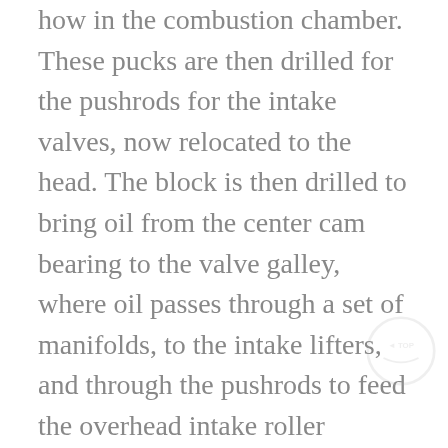how in the combustion chamber. These pucks are then drilled for the pushrods for the intake valves, now relocated to the head. The block is then drilled to bring oil from the center cam bearing to the valve galley, where oil passes through a set of manifolds, to the intake lifters, and through the pushrods to feed the overhead intake roller rockers. It returns via gravity to the galley.
Feeling the need to out-do my buddies with the other two EDGY F-heads, I decided to supercharge it as well. The year I finally built the car, 2010, was the same year we switched to the "blown" classes in our Bonneville roadster, and I had a bad case of the forced induction fever. As Called MC 77...